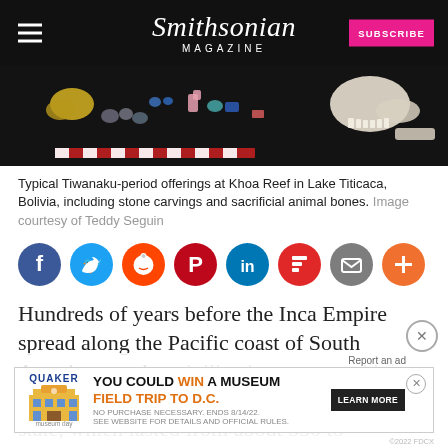Smithsonian MAGAZINE | SUBSCRIBE
[Figure (photo): Typical Tiwanaku-period offerings at Khoa Reef in Lake Titicaca, Bolivia, including stone carvings and sacrificial animal bones, displayed on a dark background with a scale ruler.]
Typical Tiwanaku-period offerings at Khoa Reef in Lake Titicaca, Bolivia, including stone carvings and sacrificial animal bones. Image courtesy of Teddy Seguin
[Figure (infographic): Social sharing icons row: Facebook, Twitter, Reddit, Pinterest, LinkedIn, Flipboard, Email, Plus]
Hundreds of years before the Inca Empire spread along the Pacific coast of South America, another civilization prospered in parts of what is now Bolivia…the Tiwanaku state, which lasted from about 550 to